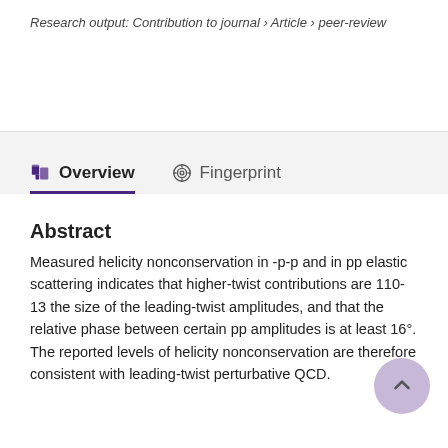Research output: Contribution to journal › Article › peer-review
Overview    Fingerprint
Abstract
Measured helicity nonconservation in -p-p and in pp elastic scattering indicates that higher-twist contributions are 110-13 the size of the leading-twist amplitudes, and that the relative phase between certain pp amplitudes is at least 16°. The reported levels of helicity nonconservation are therefore consistent with leading-twist perturbative QCD.